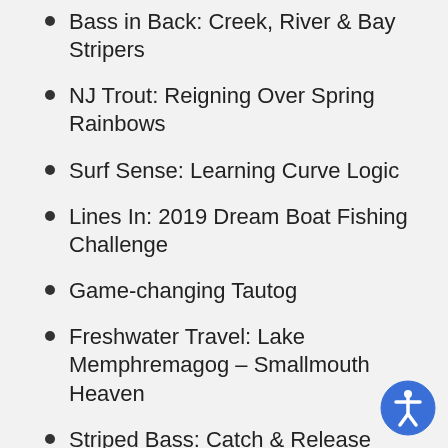Bass in Back: Creek, River & Bay Stripers
NJ Trout: Reigning Over Spring Rainbows
Surf Sense: Learning Curve Logic
Lines In: 2019 Dream Boat Fishing Challenge
Game-changing Tautog
Freshwater Travel: Lake Memphremagog – Smallmouth Heaven
Striped Bass: Catch & Release Mortality
Fight Time: Dragging It Out
Tactical Tautog: How Jigging Changed Blackfishing Forever
2019 Fluke Status: Science Cuts Both Ways
Boat Sense: the Unique